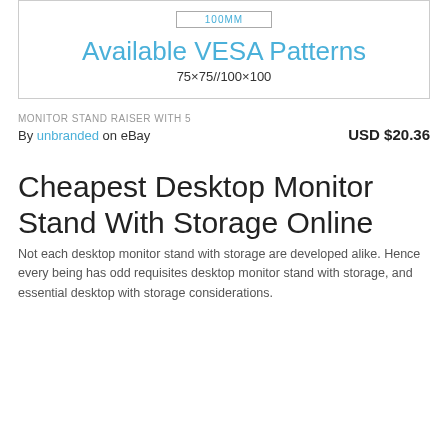[Figure (schematic): Diagram showing 100MM dimension label with a box indicating VESA pattern measurement, followed by 'Available VESA Patterns' header and '75×75//100×100' specification]
MONITOR STAND RAISER WITH 5
By unbranded on eBay   USD $20.36
Cheapest Desktop Monitor Stand With Storage Online
Not each desktop monitor stand with storage are developed alike. Hence every being has odd requisites desktop monitor stand with storage, and essential desktop with storage considerations.